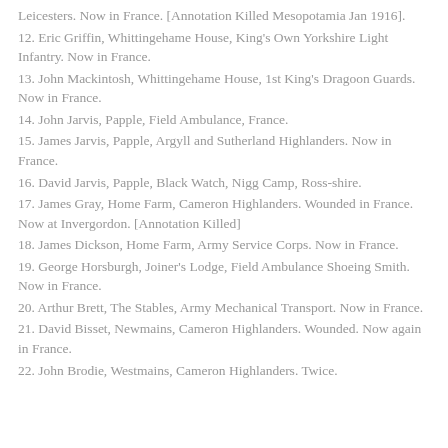Leicesters. Now in France. [Annotation Killed Mesopotamia Jan 1916].
12. Eric Griffin, Whittingehame House, King's Own Yorkshire Light Infantry. Now in France.
13. John Mackintosh, Whittingehame House, 1st King's Dragoon Guards. Now in France.
14. John Jarvis, Papple, Field Ambulance, France.
15. James Jarvis, Papple, Argyll and Sutherland Highlanders. Now in France.
16. David Jarvis, Papple, Black Watch, Nigg Camp, Ross-shire.
17. James Gray, Home Farm, Cameron Highlanders. Wounded in France. Now at Invergordon. [Annotation Killed]
18. James Dickson, Home Farm, Army Service Corps. Now in France.
19. George Horsburgh, Joiner's Lodge, Field Ambulance Shoeing Smith. Now in France.
20. Arthur Brett, The Stables, Army Mechanical Transport. Now in France.
21. David Bisset, Newmains, Cameron Highlanders. Wounded. Now again in France.
22. John Brodie, Westmains, Cameron Highlanders. Twice.